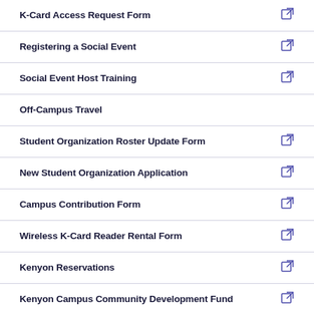K-Card Access Request Form
Registering a Social Event
Social Event Host Training
Off-Campus Travel
Student Organization Roster Update Form
New Student Organization Application
Campus Contribution Form
Wireless K-Card Reader Rental Form
Kenyon Reservations
Kenyon Campus Community Development Fund